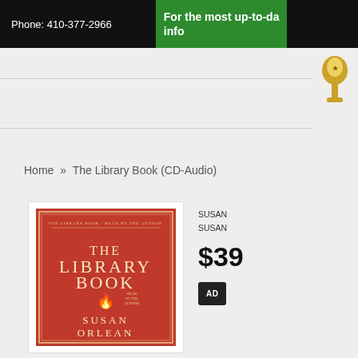Phone: 410-377-2966
For the most up-to-da... info...
Home » The Library Book (CD-Audio)
[Figure (illustration): Red book cover for 'The Library Book' by Susan Orlean, CD-Audio edition]
SUSAN... SUSAN...
$39
AD...